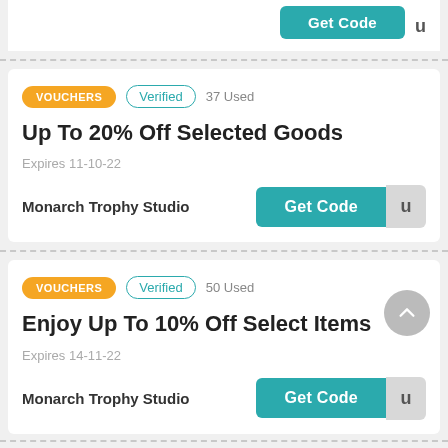[Figure (screenshot): Partial top voucher card with Get Code button visible at top of page]
VOUCHERS   Verified   37 Used
Up To 20% Off Selected Goods
Expires 11-10-22
Monarch Trophy Studio   Get Code
VOUCHERS   Verified   50 Used
Enjoy Up To 10% Off Select Items
Expires 14-11-22
Monarch Trophy Studio   Get Code
VOUCHERS   Verified   98 Used